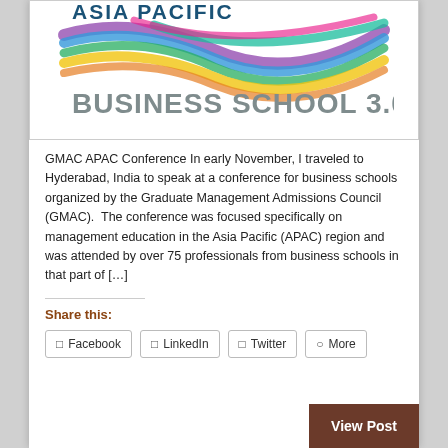[Figure (logo): Asia Pacific Business School 3.0 logo with colorful flowing abstract waves and bold text]
GMAC APAC Conference In early November, I traveled to Hyderabad, India to speak at a conference for business schools organized by the Graduate Management Admissions Council (GMAC).  The conference was focused specifically on management education in the Asia Pacific (APAC) region and was attended by over 75 professionals from business schools in that part of […]
Share this:
Facebook
LinkedIn
Twitter
More
View Post